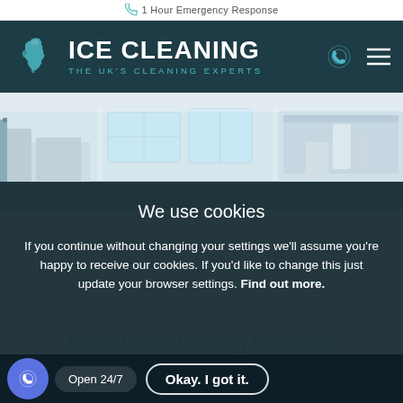1 Hour Emergency Response
[Figure (logo): ICE Cleaning logo with UK map icon and tagline THE UK'S CLEANING EXPERTS on dark teal background]
[Figure (photo): Hero photo of a clean industrial or laboratory interior with white surfaces, equipment, and bright windows]
We use cookies
If you continue without changing your settings we'll assume you're happy to receive our cookies. If you'd like to change this just update your browser settings. Find out more.
Industrial Cleaning Lambeth
Open 24/7
Okay. I got it.